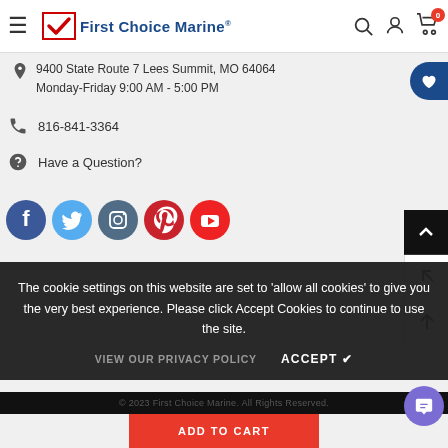First Choice Marine
9400 State Route 7 Lees Summit, MO 64064
Monday-Friday 9:00 AM - 5:00 PM
816-841-3364
Have a Question?
[Figure (other): Social media icons: Facebook, Twitter, Instagram, Pinterest, YouTube]
The cookie settings on this website are set to 'allow all cookies' to give you the very best experience. Please click Accept Cookies to continue to use the site.
VIEW OUR PRIVACY POLICY   ACCEPT ✔
© 2023 First Choice Marine. All Rights Reserved.
ADD TO CART